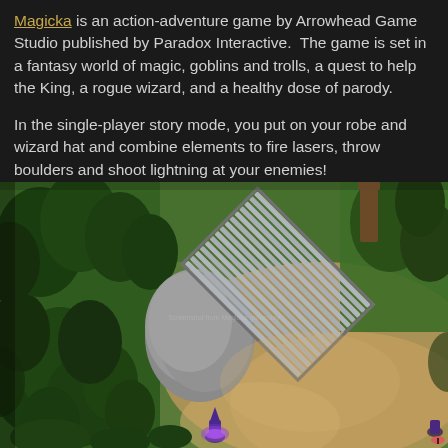Magicka is an action-adventure game by Arrowhead Game Studios, published by Paradox Interactive. The game is set in a fantasy world of magic, goblins and trolls, a quest to help the King, a rogue wizard, and a healthy dose of parody.
In the single-player story mode, you put on your robe and wizard hat and combine elements to fire lasers, throw boulders and shoot lightning at your enemies!
[Figure (screenshot): Top-down isometric screenshot of the game Magicka showing a forest environment with trees, grass, a dirt path, rocks, a tilted wooden structure/gate, and a wizard character visible at the bottom.]